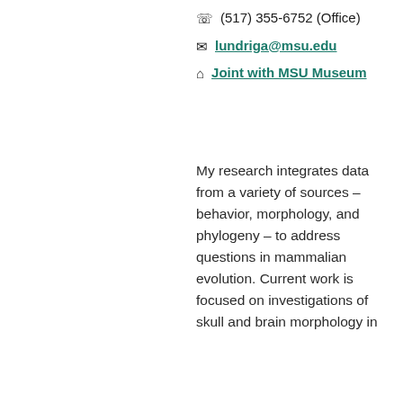☎ (517) 355-6752 (Office)
✉ lundriga@msu.edu
⌂ Joint with MSU Museum
My research integrates data from a variety of sources – behavior, morphology, and phylogeny – to address questions in mammalian evolution. Current work is focused on investigations of skull and brain morphology in